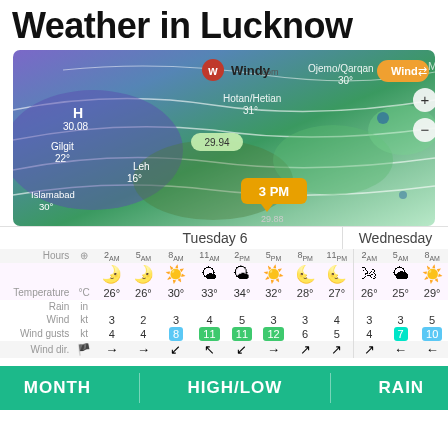Weather in Lucknow
[Figure (map): Windy.com wind map showing pressure systems over South/Central Asia with locations: Ojemo/Qarqan 30°, Hotan/Hetian 31°, H 30.08, Gilgit 22°, Leh 16°, Islamabad 30°. Pressure reading 29.94 and 3 PM marker at 29.88.]
|  |  | 2am | 5am | 8am | 11am | 2pm | 5pm | 8pm | 11pm | 2am | 5am | 8am |
| --- | --- | --- | --- | --- | --- | --- | --- | --- | --- | --- | --- | --- |
| Hours | ⊕ | 2am | 5am | 8am | 11am | 2pm | 5pm | 8pm | 11pm | 2am | 5am | 8am |
| Temperature | °C | 26° | 26° | 30° | 33° | 34° | 32° | 28° | 27° | 26° | 25° | 29° |
| Rain | in |  |  |  |  |  |  |  |  |  |  |  |
| Wind | kt | 3 | 2 | 3 | 4 | 5 | 3 | 3 | 4 | 3 | 3 | 5 |
| Wind gusts | kt | 4 | 4 | 8 | 11 | 11 | 12 | 6 | 5 | 4 | 7 | 10 |
| Wind dir. | 🏴 | → | → | ↙ | ↖ | ↙ | → | ↗ | ↗ | ↗ | ← | ← |
Tuesday 6
Wednesday
[Figure (infographic): Bottom green bar with MONTH, HIGH/LOW, RAIN labels]